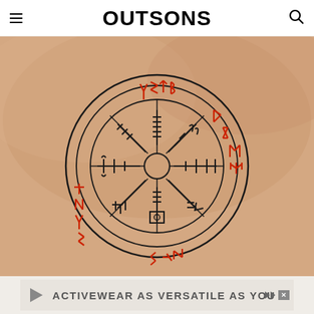OUTSONS
[Figure (photo): Viking vegvisir compass tattoo on a person's chest. The circular tattoo features black Norse compass symbols (vegvisir) in the center surrounded by a ring of red runic text. The design has multiple compartments with different runic/symbolic marks pointing in eight directions from a central circle.]
[Figure (infographic): Advertisement banner at bottom reading 'ACTIVEWEAR AS VERSATILE AS YOU' with playback and close controls on the right side.]